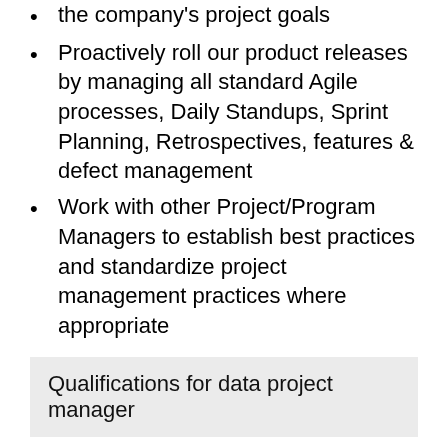the company's project goals
Proactively roll our product releases by managing all standard Agile processes, Daily Standups, Sprint Planning, Retrospectives, features & defect management
Work with other Project/Program Managers to establish best practices and standardize project management practices where appropriate
Qualifications for data project manager
Able to make effective presentations and respond to questions from groups of clients, customers and the general public
Ability to track costs for all projects, using purchase orders and other tracking methods
Ability to interpret a variety of instructions furnished in written, oral, diagram or schedule